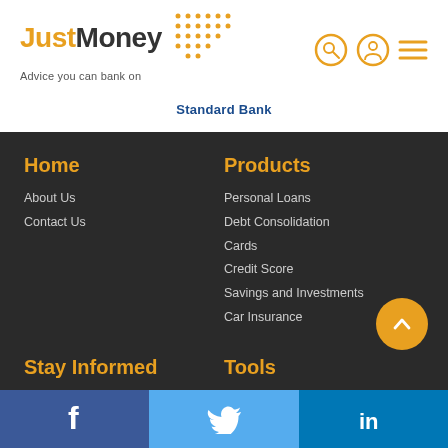[Figure (logo): JustMoney logo with orange 'Just' text, dark 'Money' text, orange dot grid pattern, and tagline 'Advice you can bank on']
[Figure (other): Navigation icons: search (magnifying glass circle), user profile (person circle), and hamburger menu (three horizontal lines) in orange]
Standard Bank
Home
About Us
Contact Us
Products
Personal Loans
Debt Consolidation
Cards
Credit Score
Savings and Investments
Car Insurance
Stay Informed
Tools
[Figure (other): Social media bar with Facebook (dark blue), Twitter (light blue), and LinkedIn (medium blue) icons at the bottom]